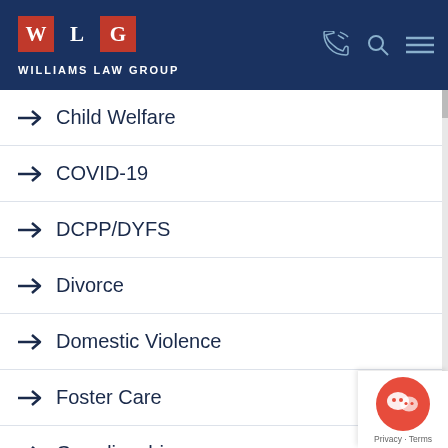Williams Law Group
Child Welfare
COVID-19
DCPP/DYFS
Divorce
Domestic Violence
Foster Care
Guardianship
Marital Assets
Marital Debt
Mediation